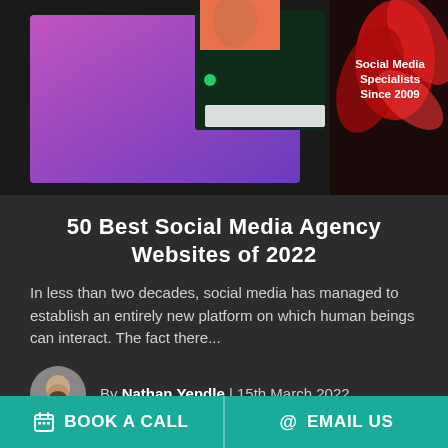[Figure (screenshot): Top banner showing social media agency website screenshots including a purple gradient background, dark green interface, and red abstract floral element with text 'Social Media Specialists Since 2009']
50 Best Social Media Agency Websites of 2022
In less than two decades, social media has managed to establish an entirely new platform on which human beings can interact. The fact there...
By Nathan Yendle | 15th March 2022
BOOK A CALL   EMAIL US